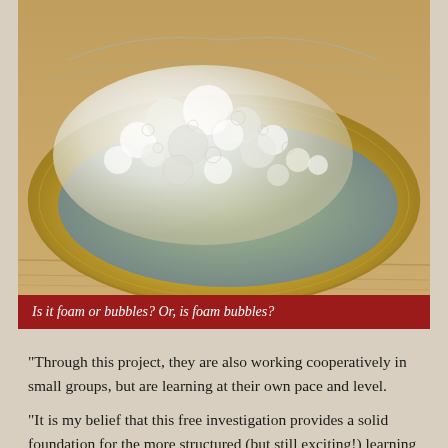[Figure (photo): Close-up photograph of a dish or plate with foam and bubbles — soapy water foam sitting on a round golden/metallic plate on a wooden surface.]
Is it foam or bubbles? Or, is foam bubbles?
"Through this project, they are also working cooperatively in small groups, but are learning at their own pace and level.
"It is my belief that this free investigation provides a solid foundation for the more structured (but still exciting!) learning we will begin in the upcoming weeks."
Second graders finished the Bubble Festival by